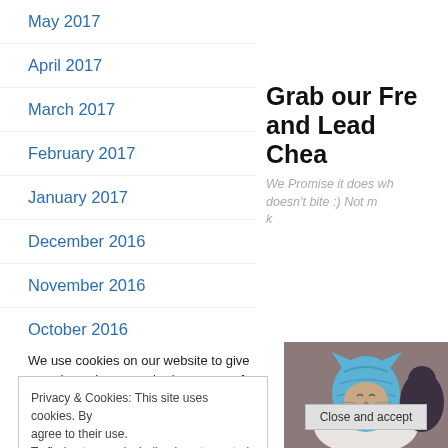May 2017
April 2017
March 2017
February 2017
January 2017
December 2016
November 2016
October 2016
Grab our Fre and Lead Chea
We Promise it does wh doesn't bite :) Not m k
[Figure (photo): Cat wearing a blue knitted hood/hat, with a person visible behind]
We use cookies on our website to give experience by remembering your pref
Privacy & Cookies: This site uses cookies. By agree to their use.
To find out more, including how to control co
Close and accept